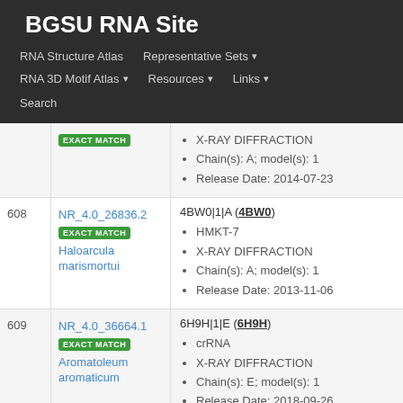BGSU RNA Site
RNA Structure Atlas
Representative Sets
RNA 3D Motif Atlas
Resources
Links
Search
X-RAY DIFFRACTION
Chain(s): A; model(s): 1
Release Date: 2014-07-23
608
NR_4.0_26836.2
EXACT MATCH
Haloarcula marismortui
4BW0|1|A (4BW0)
HMKT-7
X-RAY DIFFRACTION
Chain(s): A; model(s): 1
Release Date: 2013-11-06
609
NR_4.0_36664.1
EXACT MATCH
Aromatoleum aromaticum
6H9H|1|E (6H9H)
crRNA
X-RAY DIFFRACTION
Chain(s): E; model(s): 1
Release Date: 2018-09-26